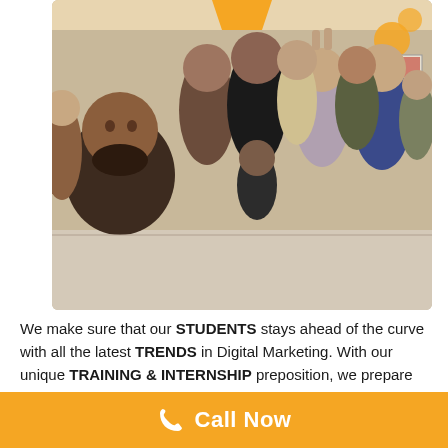[Figure (photo): Group selfie photo of a trainer and students in an indoor classroom/office setting with orange decorations. Multiple young men posing and smiling, one woman visible in the center.]
We make sure that our STUDENTS stays ahead of the curve with all the latest TRENDS in Digital Marketing. With our unique TRAINING & INTERNSHIP preposition, we prepare our students to be PRODUCTIVE, from day one of their CAREER.
Call Now